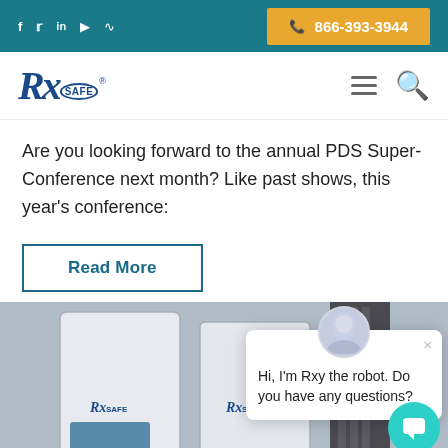f  t  in  ▶  ⌂  |  📞 866-393-3944
[Figure (logo): RxSafe logo with stylized Rx and SAFE in circle, dark blue color]
Are you looking forward to the annual PDS Super-Conference next month? Like past shows, this year's conference:
Read More
[Figure (screenshot): Chat popup from Rxy the robot saying 'Hi, I'm Rxy the robot. Do you have any questions?' overlaid on pharmacy machine image showing RxSafe branded dispensing machines]